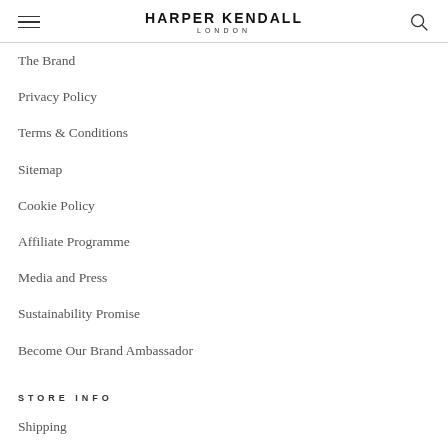HARPER KENDALL LONDON
The Brand
Privacy Policy
Terms & Conditions
Sitemap
Cookie Policy
Affiliate Programme
Media and Press
Sustainability Promise
Become Our Brand Ambassador
STORE INFO
Shipping